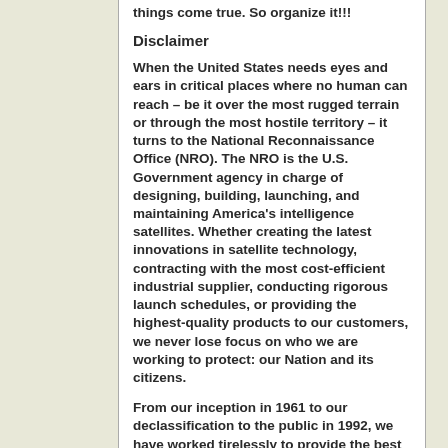things come true. So organize it!!!
Disclaimer
When the United States needs eyes and ears in critical places where no human can reach – be it over the most rugged terrain or through the most hostile territory – it turns to the National Reconnaissance Office (NRO). The NRO is the U.S. Government agency in charge of designing, building, launching, and maintaining America's intelligence satellites. Whether creating the latest innovations in satellite technology, contracting with the most cost-efficient industrial supplier, conducting rigorous launch schedules, or providing the highest-quality products to our customers, we never lose focus on who we are working to protect: our Nation and its citizens.
From our inception in 1961 to our declassification to the public in 1992, we have worked tirelessly to provide the best reconnaissance support possible to the Intelligence Community (IC) and Department of Defense (DoD). We are unwavering in